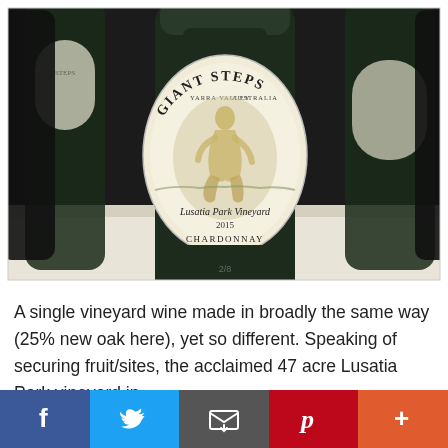[Figure (photo): Photo of Giant Steps Yarra Valley Australia wine bottles, with the central bottle showing the Lusatia Park Vineyard 2015 Chardonnay label featuring a classical figure illustration]
A single vineyard wine made in broadly the same way (25% new oak here), yet so different.  Speaking of securing fruit/sites, the acclaimed 47 acre Lusatia Park vineyard in